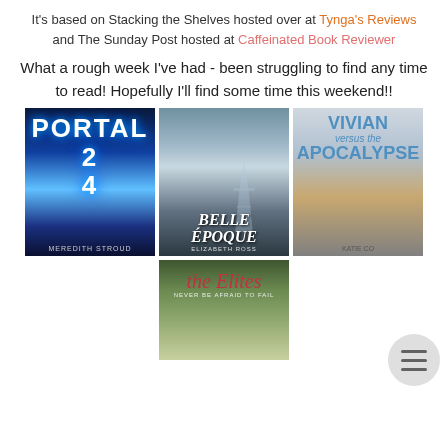It's based on Stacking the Shelves hosted over at Tynga's Reviews and The Sunday Post hosted at Caffeinated Book Reviewer
What a rough week I've had - been struggling to find any time to read! Hopefully I'll find some time this weekend!!
[Figure (photo): Book cover: Portal 24 by Meredith Stroud - dark sci-fi cover with glowing blue portal and large text PORTAL 24]
[Figure (photo): Book cover: Belle Epoque by Elizabeth Ross - figure in front of Eiffel Tower with stylized text BELLE EPOQUE]
[Figure (photo): Book cover: Vivian Versus the Apocalypse by Katie Co... - girl's legs in yellow skirt, text VIVIAN VERSUS THE APOCALYPSE in blue]
[Figure (photo): Book cover: The Elites - green background with cursive title and subtitle NEVER BE AFRAID TO FAIL]